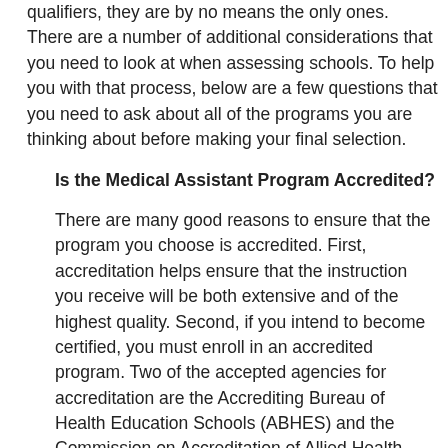qualifiers, they are by no means the only ones. There are a number of additional considerations that you need to look at when assessing schools. To help you with that process, below are a few questions that you need to ask about all of the programs you are thinking about before making your final selection.
Is the Medical Assistant Program Accredited?
There are many good reasons to ensure that the program you choose is accredited. First, accreditation helps ensure that the instruction you receive will be both extensive and of the highest quality. Second, if you intend to become certified, you must enroll in an accredited program. Two of the accepted agencies for accreditation are the Accrediting Bureau of Health Education Schools (ABHES) and the Commission on Accreditation of Allied Health Education Programs (CAAHEP). If your school is not accredited by either of these organizations, you will not be qualified to take the